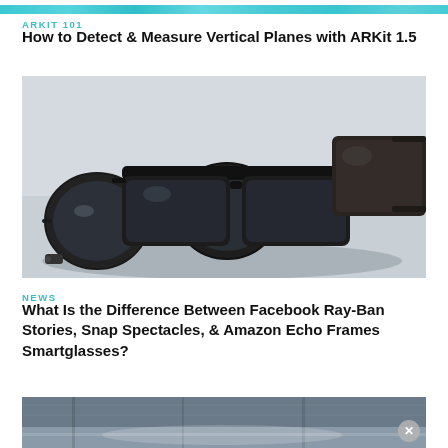[Figure (photo): Teal/cyan decorative banner image strip at the top of the page]
ARKIT 101
How to Detect & Measure Vertical Planes with ARKit 1.5
[Figure (photo): Photo of multiple smartglasses including round-lens AR glasses and wayfarer-style smart sunglasses stacked on a white surface]
NEWS
What Is the Difference Between Facebook Ray-Ban Stories, Snap Spectacles, & Amazon Echo Frames Smartglasses?
[Figure (photo): Partial photo of an interior room or lobby scene, partially visible at bottom of page with a close/dismiss button overlay]